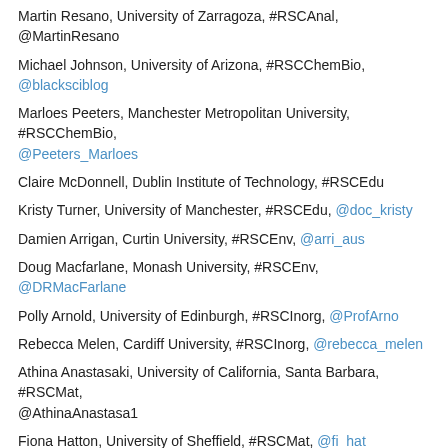Martin Resano, University of Zarragoza, #RSCAnal, @MartinResano
Michael Johnson, University of Arizona, #RSCChemBio, @blacksciblog
Marloes Peeters, Manchester Metropolitan University, #RSCChemBio, @Peeters_Marloes
Claire McDonnell, Dublin Institute of Technology, #RSCEdu
Kristy Turner, University of Manchester, #RSCEdu, @doc_kristy
Damien Arrigan, Curtin University, #RSCEnv, @arri_aus
Doug Macfarlane, Monash University, #RSCEnv, @DRMacFarlane
Polly Arnold, University of Edinburgh, #RSCInorg, @ProfArno
Rebecca Melen, Cardiff University, #RSCInorg, @rebecca_melen
Athina Anastasaki, University of California, Santa Barbara, #RSCMat, @AthinaAnastasa1
Fiona Hatton, University of Sheffield, #RSCMat, @fi_hat
Gemma-Louise Davies, University of Warwick, #RSCNano, @GemmaLouDavies
Karen Faulds, University of Strathclyde, #RSCNano, @FauldsKaren
Ryan Mewis, Manchester Metropolitan University, #RSCOrg
David Nelson, University of Strathclyde, #RSCOrg, @TheNelsonGroup
Committee Members